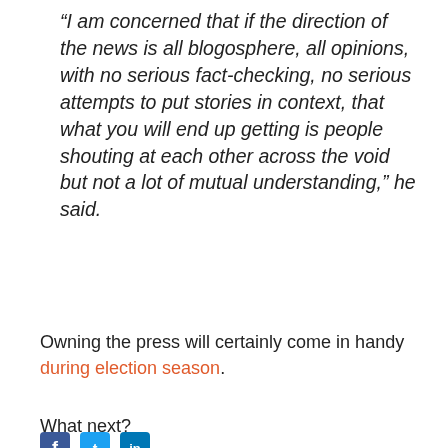“I am concerned that if the direction of the news is all blogosphere, all opinions, with no serious fact-checking, no serious attempts to put stories in context, that what you will end up getting is people shouting at each other across the void but not a lot of mutual understanding,” he said.
Owning the press will certainly come in handy during election season.
What next?
[Figure (other): Social media icons: Facebook, Twitter, and another social platform]